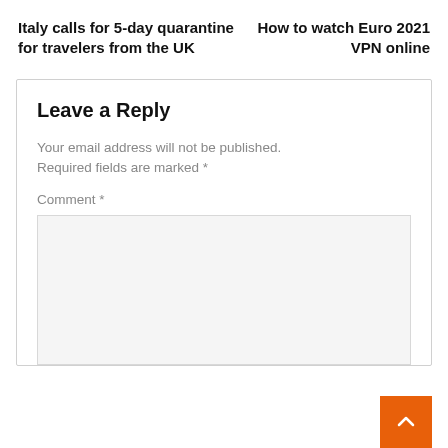Italy calls for 5-day quarantine for travelers from the UK
How to watch Euro 2021 VPN online
Leave a Reply
Your email address will not be published. Required fields are marked *
Comment *